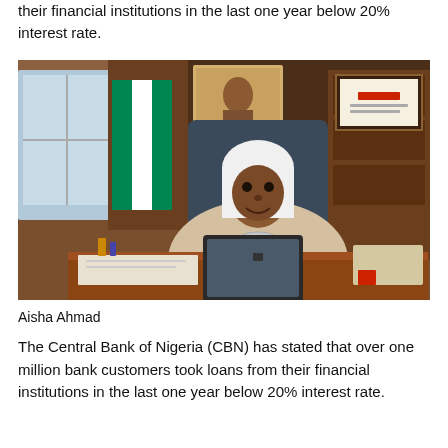their financial institutions in the last one year below 20% interest rate.
[Figure (photo): Aisha Ahmad, a woman in a white head covering and light blazer, seated at a desk in an office with a Nigerian flag, bookshelves, framed certificates, and a tablet on the desk.]
Aisha Ahmad
The Central Bank of Nigeria (CBN) has stated that over one million bank customers took loans from their financial institutions in the last one year below 20% interest rate.